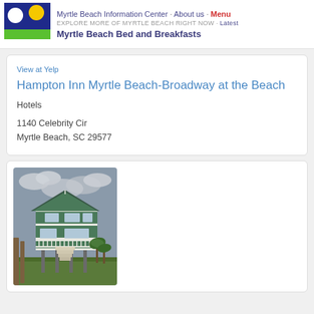Myrtle Beach Information Center · About us · Menu | EXPLORE MORE OF MYRTLE BEACH RIGHT NOW · Latest | Myrtle Beach Bed and Breakfasts
View at Yelp
Hampton Inn Myrtle Beach-Broadway at the Beach
Hotels
1140 Celebrity Cir
Myrtle Beach, SC 29577
[Figure (photo): Photo of a green two-story beach house on stilts with white trim, stairs, and a porch, set against a cloudy sky with palm trees and grass in the foreground]